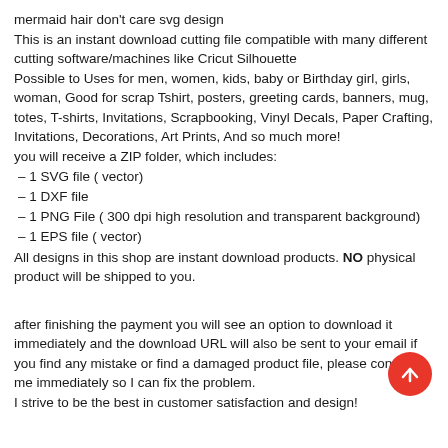mermaid hair don't care svg design
This is an instant download cutting file compatible with many different cutting software/machines like Cricut Silhouette
Possible to Uses for men, women, kids, baby or Birthday girl, girls, woman, Good for scrap Tshirt, posters, greeting cards, banners, mug, totes, T-shirts, Invitations, Scrapbooking, Vinyl Decals, Paper Crafting, Invitations, Decorations, Art Prints, And so much more!
you will receive a ZIP folder, which includes:
– 1 SVG file ( vector)
– 1 DXF file
– 1 PNG File ( 300 dpi high resolution and transparent background)
– 1 EPS file ( vector)
All designs in this shop are instant download products. NO physical product will be shipped to you.
after finishing the payment you will see an option to download it immediately and the download URL will also be sent to your email if you find any mistake or find a damaged product file, please contact me immediately so I can fix the problem. I strive to be the best in customer satisfaction and design!